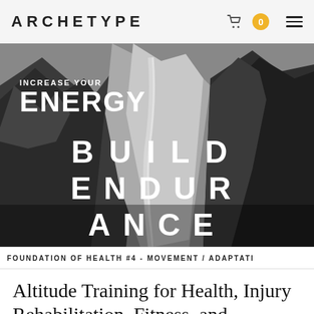ARCHETYPE   0
[Figure (photo): Black and white aerial photograph of mountain valley with glacial river, overlaid with text 'INCREASE YOUR ENERGY' in top left and 'BUILD ENDURANCE' in large spaced letters across the center]
FOUNDATION OF HEALTH #4  - MOVEMENT / ADAPTATI
Altitude Training for Health, Injury Rehabilitation, Fitness, and